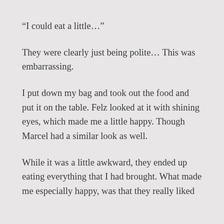“I could eat a little…”
They were clearly just being polite… This was embarrassing.
I put down my bag and took out the food and put it on the table. Felz looked at it with shining eyes, which made me a little happy. Though Marcel had a similar look as well.
While it was a little awkward, they ended up eating everything that I had brought. What made me especially happy, was that they really liked